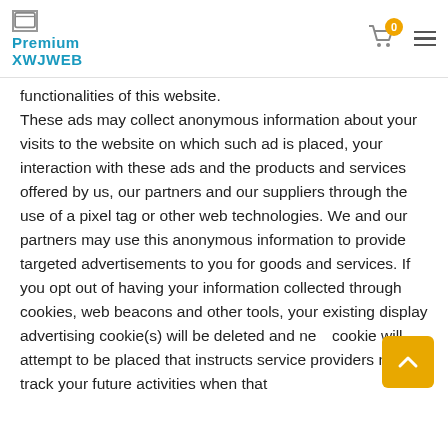Premium XWJWEB
functionalities of this website. These ads may collect anonymous information about your visits to the website on which such ad is placed, your interaction with these ads and the products and services offered by us, our partners and our suppliers through the use of a pixel tag or other web technologies. We and our partners may use this anonymous information to provide targeted advertisements to you for goods and services. If you opt out of having your information collected through cookies, web beacons and other tools, your existing display advertising cookie(s) will be deleted and new cookie will attempt to be placed that instructs service providers not to track your future activities when that